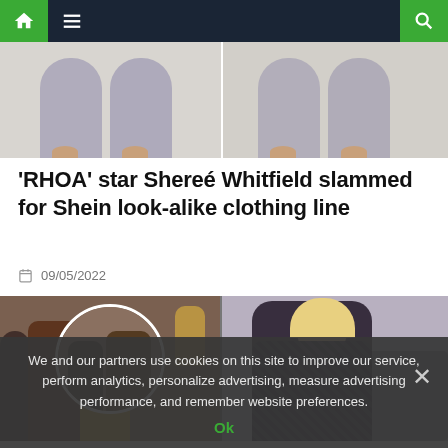Navigation bar with home, menu, and search icons
[Figure (photo): Two cropped photos side by side showing lower body in gray/blue leggings and tan shoes on white background]
'RHOA' star Shereé Whitfield slammed for Shein look-alike clothing line
09/05/2022
[Figure (photo): Two celebrity photos: left shows a man in brown jacket with women at an event with a circular framed inset, right shows a blonde woman in a sparkly black gown at a red carpet event]
We and our partners use cookies on this site to improve our service, perform analytics, personalize advertising, measure advertising performance, and remember website preferences.
Ok